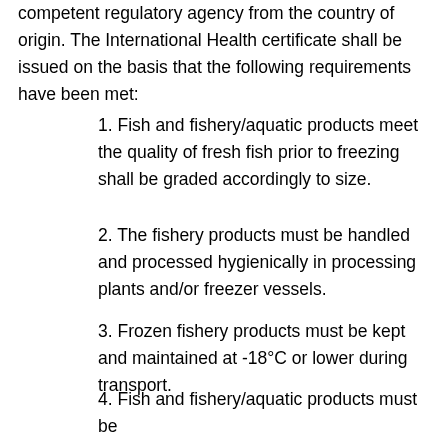competent regulatory agency from the country of origin. The International Health certificate shall be issued on the basis that the following requirements have been met:
1. Fish and fishery/aquatic products meet the quality of fresh fish prior to freezing shall be graded accordingly to size.
2. The fishery products must be handled and processed hygienically in processing plants and/or freezer vessels.
3. Frozen fishery products must be kept and maintained at -18°C or lower during transport.
4. Fish and fishery/aquatic products must be subject to visual inspection for parasite check. Fish infested with parasites, must be removed from the batch.
5. The International Health Certificate shall be supported with the following laboratory test